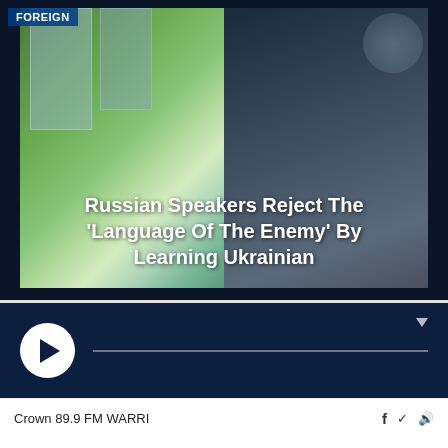[Figure (screenshot): Composite news image with two panels — left: outdoor scene with trees and buildings in color; right: grayscale image of a soldier with equipment. Overlaid text reads the article headline. A 'FOREIGN' category badge appears in the top-left corner.]
Russian Speakers Reject The ‘Language Of The Enemy’ By Learning Ukrainian
[Figure (screenshot): Audio player widget with dark navy background, a white circular play button on the left, a horizontal progress/scrubber bar, and a dropdown arrow in the top-right corner.]
Crown 89.9 FM WARRI